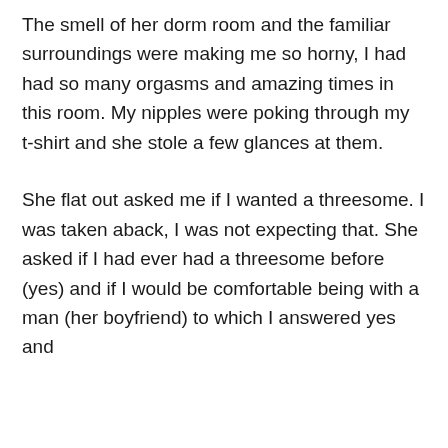The smell of her dorm room and the familiar surroundings were making me so horny, I had had so many orgasms and amazing times in this room. My nipples were poking through my t-shirt and she stole a few glances at them.
She flat out asked me if I wanted a threesome. I was taken aback, I was not expecting that. She asked if I had ever had a threesome before (yes) and if I would be comfortable being with a man (her boyfriend) to which I answered yes and